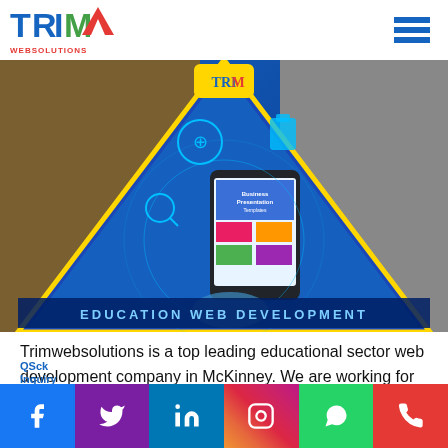[Figure (logo): TRIM WEBSOLUTIONS logo with blue letters and red text]
[Figure (infographic): Education Web Development hero banner with tablet device in blue diamond/triangle, students in background, bottom text reads EDUCATION WEB DEVELOPMENT]
Trimwebsolutions is a top leading educational sector web development company in McKinney. We are working for Complete Web Solutuions for Qick Schools at Inquiry off
[Figure (infographic): Social media bar with icons: Facebook (blue), Twitter (purple), LinkedIn (blue), Instagram (orange/yellow), WhatsApp (green), Phone (red)]